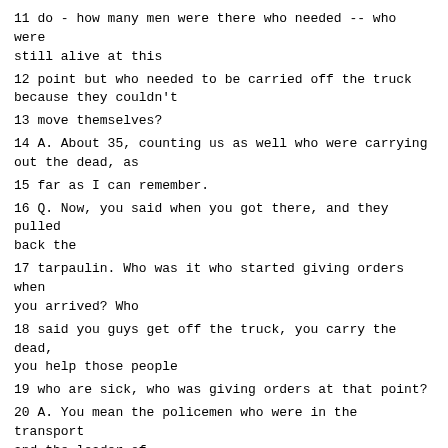11 do - how many men were there who needed -- who were still alive at this
12 point but who needed to be carried off the truck because they couldn't
13 move themselves?
14 A. About 35, counting us as well who were carrying out the dead, as
15 far as I can remember.
16 Q. Now, you said when you got there, and they pulled back the
17 tarpaulin. Who was it who started giving orders when you arrived? Who
18 said you guys get off the truck, you carry the dead, you help those people
19 who are sick, who was giving orders at that point?
20 A. You mean the policemen who were in the transport and the leader of
21 the convoy in a car accompanying the convoy was Dosenovic Drago, also
22 known as Maca, and also there was the warden of the